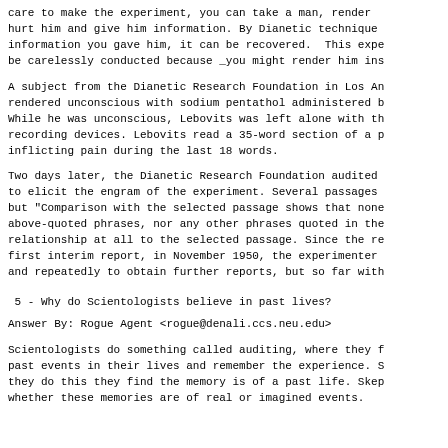care to make the experiment, you can take a man, render hurt him and give him information. By Dianetic technique information you gave him, it can be recovered. This expe be carelessly conducted because _you might render him ins
A subject from the Dianetic Research Foundation in Los An rendered unconscious with sodium pentathol administered b While he was unconscious, Lebovits was left alone with th recording devices. Lebovits read a 35-word section of a p inflicting pain during the last 18 words.
Two days later, the Dianetic Research Foundation audited to elicit the engram of the experiment. Several passages but "Comparison with the selected passage shows that none above-quoted phrases, nor any other phrases quoted in the relationship at all to the selected passage. Since the re first interim report, in November 1950, the experimenter and repeatedly to obtain further reports, but so far with
5 - Why do Scientologists believe in past lives?
Answer By: Rogue Agent <rogue@denali.ccs.neu.edu>
Scientologists do something called auditing, where they f past events in their lives and remember the experience. S they do this they find the memory is of a past life. Skep whether these memories are of real or imagined events.